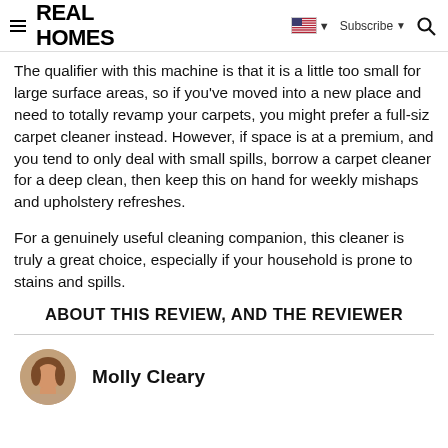REAL HOMES
The qualifier with this machine is that it is a little too small for large surface areas, so if you've moved into a new place and need to totally revamp your carpets, you might prefer a full-siz carpet cleaner instead. However, if space is at a premium, and you tend to only deal with small spills, borrow a carpet cleaner for a deep clean, then keep this on hand for weekly mishaps and upholstery refreshes.
For a genuinely useful cleaning companion, this cleaner is truly a great choice, especially if your household is prone to stains and spills.
ABOUT THIS REVIEW, AND THE REVIEWER
Molly Cleary